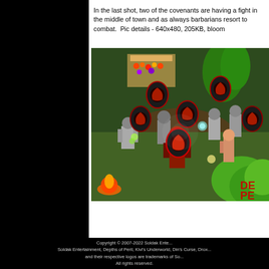In the last shot, two of the covenants are having a fight in the middle of town and as always barbarians resort to melee combat.  Pic details - 640x480, 205KB, bloom
[Figure (screenshot): Isometric RPG game screenshot showing multiple armored characters fighting in a town area with grass and dirt terrain, red faction emblems floating above characters, lush green vegetation in bottom right, fire visible in bottom left, and 'DE PE' text (Depths of Peril) watermark in bottom right corner.]
Copyright © 2007-2022 Soldak Ente... Soldak Entertainment, Depths of Peril, Kivi's Underworld, Din's Curse, Drox... and their respective logos are trademarks of So... All rights reserved.